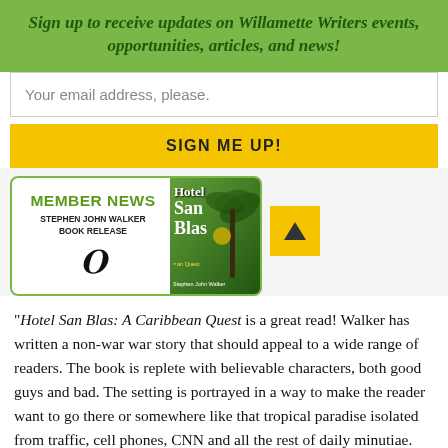Sign up to receive updates on Willamette Writers events, opportunities, articles, and news!
Your email address, please.
SIGN ME UP!
[Figure (infographic): Member News card for Stephen John Walker Book Release, showing a book cover for 'Hotel San Blas: A Caribbean Quest' with a Willamette W logo, flanked by a yellow scroll-up arrow button]
“Hotel San Blas: A Caribbean Quest is a great read! Walker has written a non-war war story that should appeal to a wide range of readers. The book is replete with believable characters, both good guys and bad. The setting is portrayed in a way to make the reader want to go there or somewhere like that tropical paradise isolated from traffic, cell phones, CNN and all the rest of daily minutiae. Good